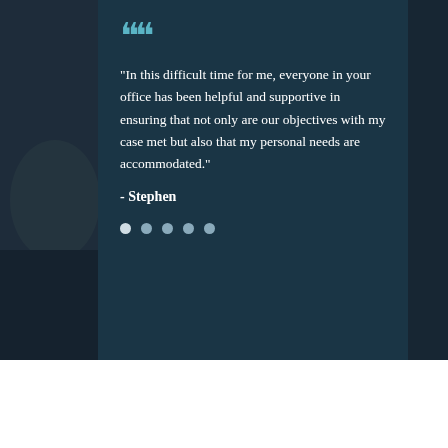[Figure (photo): Dark background photo of a person sitting, partially visible on left side, with dark blue overlay]
“In this difficult time for me, everyone in your office has been helpful and supportive in ensuring that not only are our objectives with my case met but also that my personal needs are accommodated.”
- Stephen